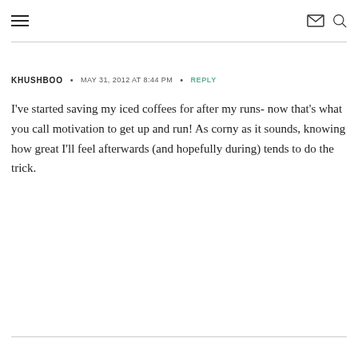≡  ✉ 🔍
KHUSHBOO  •  MAY 31, 2012 AT 8:44 PM  •  REPLY
I've started saving my iced coffees for after my runs- now that's what you call motivation to get up and run! As corny as it sounds, knowing how great I'll feel afterwards (and hopefully during) tends to do the trick.